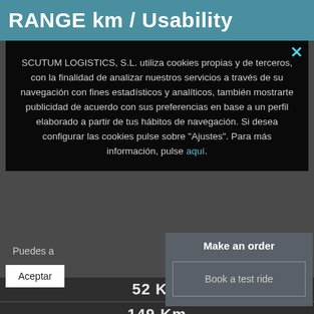RANGE km / Usability
SCUTUM LOGISTICS, S.L. utiliza cookies propias y de terceros, con la finalidad de analizar nuestros servicios a través de su navegación con fines estadísticos y analíticos, también mostrarte publicidad de acuerdo con sus preferencias en base a un perfil elaborado a partir de tus hábitos de navegación. Si desea configurar las cookies pulse sobre "Ajustes". Para más información, pulse aquí.
Puedes a
Make an order
Book a test ride
Aceptar
52 Km
149 Km